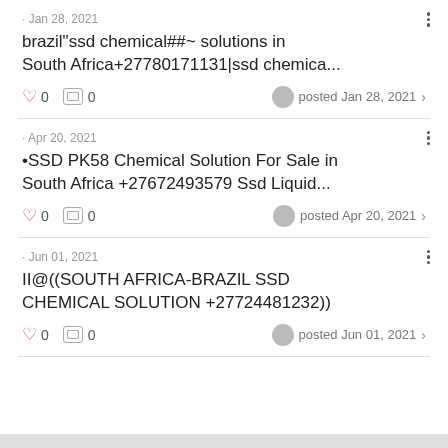· Jan 28, 2021
brazil"ssd chemical##~ solutions in South Africa+27780171131|ssd chemica...
♡ 0  0  posted Jan 28, 2021 >
· Apr 20, 2021
•SSD PK58 Chemical Solution For Sale in South Africa +27672493579 Ssd Liquid...
♡ 0  0  posted Apr 20, 2021 >
· Jun 01, 2021
II@((SOUTH AFRICA-BRAZIL SSD CHEMICAL SOLUTION +27724481232))
♡ 0  0  posted Jun 01, 2021 >